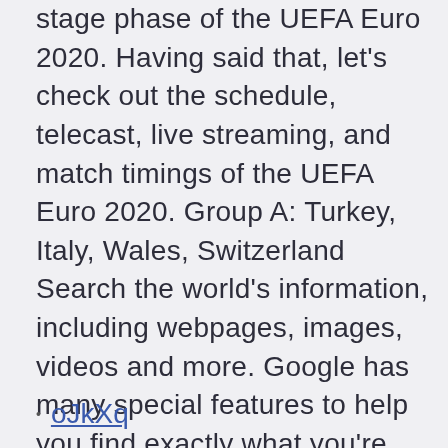stage phase of the UEFA Euro 2020. Having said that, let's check out the schedule, telecast, live streaming, and match timings of the UEFA Euro 2020. Group A: Turkey, Italy, Wales, Switzerland Search the world's information, including webpages, images, videos and more. Google has many special features to help you find exactly what you're looking for.
oJkXq